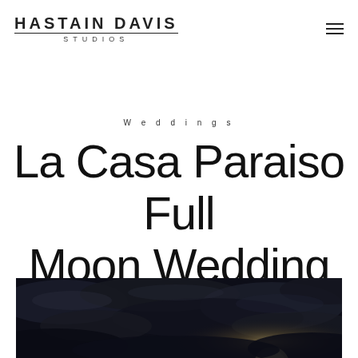HASTAIN DAVIS STUDIOS
Weddings
La Casa Paraiso Full Moon Wedding
[Figure (photo): Dark night sky photograph showing clouds and a bright full moon glimpse at the bottom of the page]